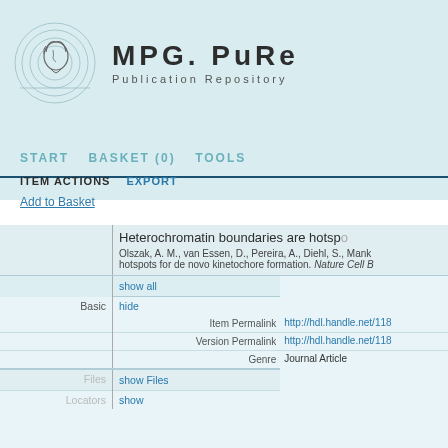[Figure (logo): MPG.PuRe Publication Repository logo with Minerva head icon]
MPG.PuRe Publication Repository
START  BASKET (0)  TOOLS
ITEM ACTIONS  EXPORT
Add to Basket
Heterochromatin boundaries are hotspot...
Olszak, A. M., van Essen, D., Pereira, A., Diehl, S., Manke... hotspots for de novo kinetochore formation. Nature Cell B...
| Category | Action/Field | Value |
| --- | --- | --- |
|  | show all |  |
| Basic | hide |  |
|  | Item Permalink | http://hdl.handle.net/118... |
|  | Version Permalink | http://hdl.handle.net/118... |
|  | Genre | Journal Article |
| Files | show Files |  |
| Locators | show |  |